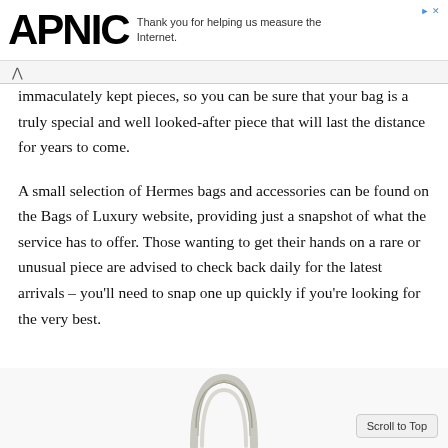APNIC — Thank you for helping us measure the Internet.
immaculately kept pieces, so you can be sure that your bag is a truly special and well looked-after piece that will last the distance for years to come.
A small selection of Hermes bags and accessories can be found on the Bags of Luxury website, providing just a snapshot of what the service has to offer. Those wanting to get their hands on a rare or unusual piece are advised to check back daily for the latest arrivals – you'll need to snap one up quickly if you're looking for the very best.
[Figure (photo): Partial view of a silver/metallic Hermes bag handle or lock hardware against a white background]
Scroll to Top